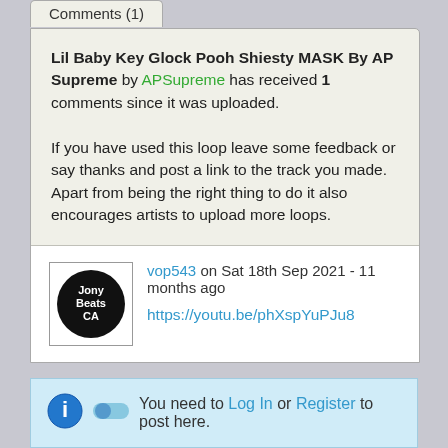Comments (1)
Lil Baby Key Glock Pooh Shiesty MASK By AP Supreme by APSupreme has received 1 comments since it was uploaded.

If you have used this loop leave some feedback or say thanks and post a link to the track you made. Apart from being the right thing to do it also encourages artists to upload more loops.
vop543 on Sat 18th Sep 2021 - 11 months ago
https://youtu.be/phXspYuPJu8
You need to Log In or Register to post here.